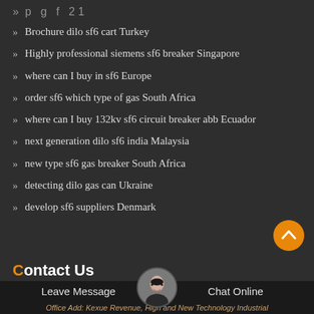Brochure dilo sf6 cart Turkey
Highly professional siemens sf6 breaker Singapore
where can I buy in sf6 Europe
order sf6 which type of gas South Africa
where can I buy 132kv sf6 circuit breaker abb Ecuador
next generation dilo sf6 india Malaysia
new type sf6 gas breaker South Africa
detecting dilo gas can Ukraine
develop sf6 suppliers Denmark
Contact Us
Leave Message
Chat Online
Office Add: Kexue Revenue, High and New Technology Industrial